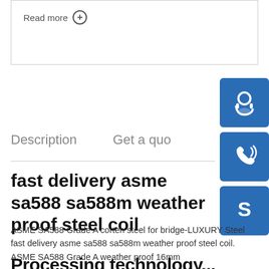Read more ⊕
Description
Get a quo
[Figure (illustration): Customer support icon (headset) on blue square button]
[Figure (illustration): Phone icon on blue square button]
[Figure (illustration): Skype icon on blue square button]
fast delivery asme sa588 sa588m weather proof steel coil
ASME SA588 Grade A corten steel for bridge-LUXURY Steel fast delivery asme sa588 sa588m weather proof steel coil. ASME SA588 Grade A weather proof 16mm
Processing technology...